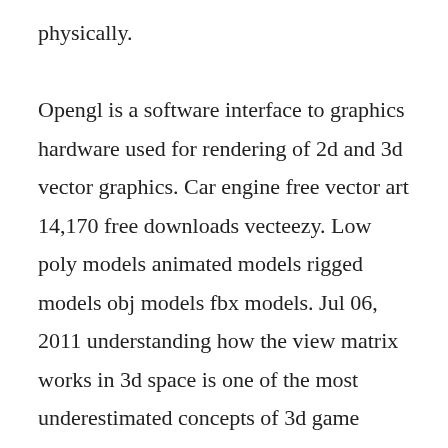physically. Opengl is a software interface to graphics hardware used for rendering of 2d and 3d vector graphics. Car engine free vector art 14,170 free downloads vecteezy. Low poly models animated models rigged models obj models fbx models. Jul 06, 2011 understanding how the view matrix works in 3d space is one of the most underestimated concepts of 3d game programming. This is a really nice 3d program that can do almost anything. A 3d vector graphics engine in pure